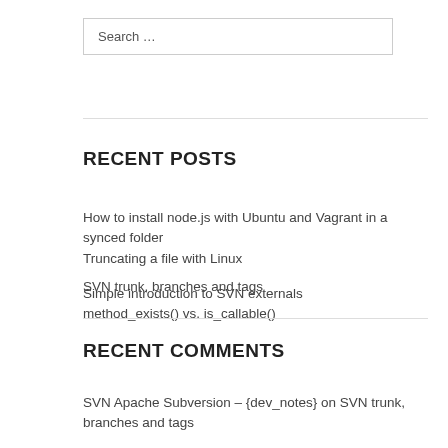Search …
RECENT POSTS
How to install node.js with Ubuntu and Vagrant in a synced folder
Truncating a file with Linux
SVN trunk, branches and tags
method_exists() vs. is_callable()
Simple introduction to SVN externals
RECENT COMMENTS
SVN Apache Subversion – {dev_notes} on SVN trunk, branches and tags